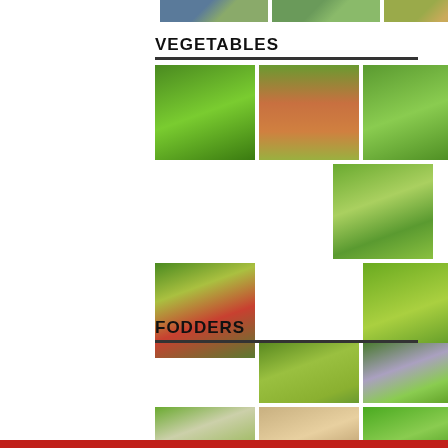[Figure (photo): Three crop/agriculture photos at top of page (partially cropped)]
VEGETABLES
[Figure (photo): Grid of vegetable photos: leafy greens, crop rows, plants, trees, elongated gourd, chili peppers, round green fruits]
FODDERS
[Figure (photo): Grid of fodder crop photos: tall grass/corn, purple-flowered herb, leafy plant, grains/seeds, green pods]